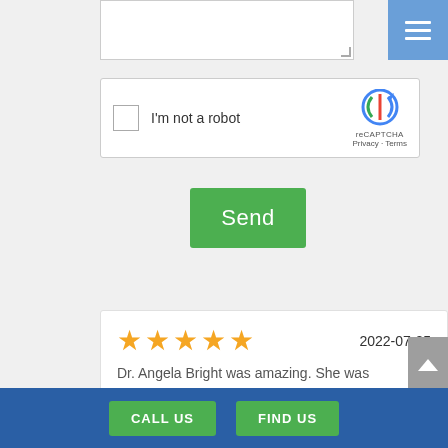[Figure (screenshot): Textarea input field (partially visible at top of page)]
[Figure (screenshot): reCAPTCHA widget with checkbox labeled 'I'm not a robot' and reCAPTCHA logo with Privacy and Terms links]
[Figure (screenshot): Green 'Send' submit button]
[Figure (screenshot): 5-star review with date 2022-07-25 and partial review text 'Dr. Angela Bright was amazing. She was']
[Figure (screenshot): Blue footer bar with green 'CALL US' and 'FIND US' buttons]